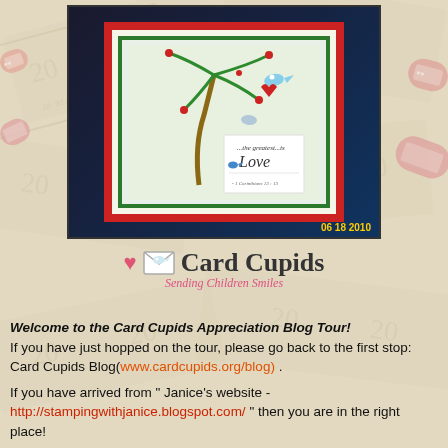[Figure (photo): A handmade greeting card with red border, green inner frame, featuring artwork of a palm tree with birds and hearts, and a tag reading '...the greatest...is Love - 1 Corinthians 13:13'. The card is photographed on a dark background with candy visible on the sides. Timestamp reads 06 18 2010.]
[Figure (logo): Card Cupids logo with a pink heart, white envelope/dove icon, the text 'Card Cupids' in large serif font, and subtitle 'Sending Children Smiles' in pink italic text.]
Welcome to the Card Cupids Appreciation Blog Tour! If you have just hopped on the tour, please go back to the first stop: Card Cupids Blog(www.cardcupids.org/blog) .
If you have arrived from " Janice's website - http://stampingwithjanice.blogspot.com/ " then you are in the right place!
Our Blog Tour theme today is Valentine's projects for